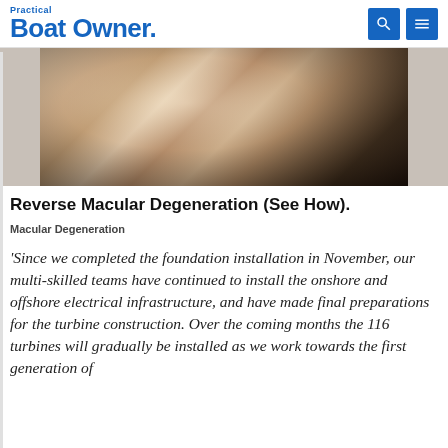Practical Boat Owner
[Figure (photo): Close-up photo of a blonde woman touching her face, against a blurred background]
Reverse Macular Degeneration (See How).
Macular Degeneration
'Since we completed the foundation installation in November, our multi-skilled teams have continued to install the onshore and offshore electrical infrastructure, and have made final preparations for the turbine construction. Over the coming months the 116 turbines will gradually be installed as we work towards the first generation of